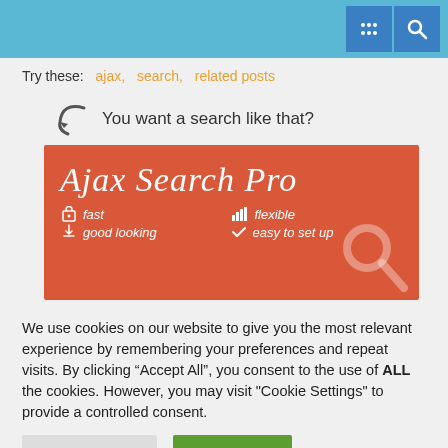[Figure (screenshot): Blue header bar with filter/settings icon and search magnifier icon on right side]
Try these: ajax, search, related posts
[Figure (illustration): Ajax Search Pro promotional banner on coral/red background with magnifier logo, showing features: fast, flexible, good looking, easy to set up]
We use cookies on our website to give you the most relevant experience by remembering your preferences and repeat visits. By clicking “Accept All”, you consent to the use of ALL the cookies. However, you may visit "Cookie Settings" to provide a controlled consent.
Cookie Settings   Accept All